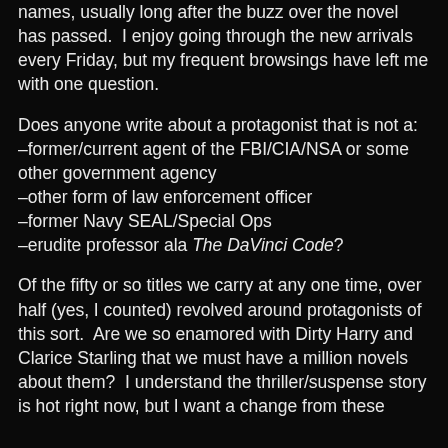names, usually long after the buzz over the novel has passed.  I enjoy going through the new arrivals every Friday, but my frequent browsings have left me with one question.
Does anyone write about a protagonist that is not a: –former/current agent of the FBI/CIA/NSA or some other government agency –other form of law enforcement officer –former Navy SEAL/Special Ops –erudite professor ala The DaVinci Code?
Of the fifty or so titles we carry at any one time, over half (yes, I counted) revolved around protagonists of this sort.  Are we so enamored with Dirty Harry and Clarice Starling that we must have a million novels about them?  I understand the thriller/suspense story is hot right now, but I want a change from these